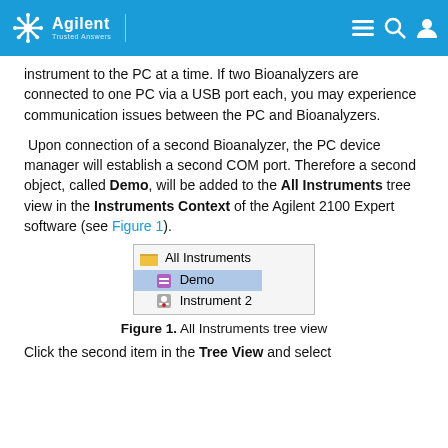Agilent | Trusted Answers
instrument to the PC at a time. If two Bioanalyzers are connected to one PC via a USB port each, you may experience communication issues between the PC and Bioanalyzers.
Upon connection of a second Bioanalyzer, the PC device manager will establish a second COM port. Therefore a second object, called Demo, will be added to the All Instruments tree view in the Instruments Context of the Agilent 2100 Expert software (see Figure 1).
[Figure (screenshot): Screenshot of All Instruments tree view showing: All Instruments (root), Demo (selected, highlighted in blue), Instrument 2]
Figure 1. All Instruments tree view
Click the second item in the Tree View and select...